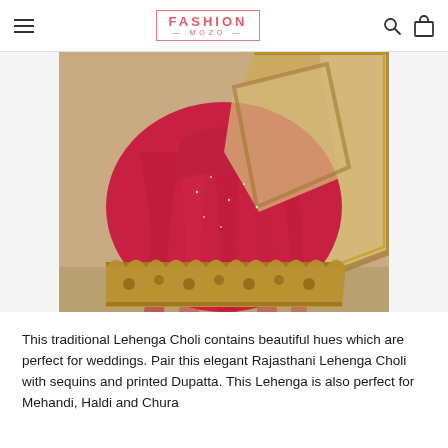FASHION MOZO
[Figure (photo): A red and gold traditional Rajasthani Lehenga Choli with embroidered border and beige/gold dupatta draped over it, photographed against a warm beige background. The lehenga has intricate golden embroidery along the hem.]
This traditional Lehenga Choli contains beautiful hues which are perfect for weddings. Pair this elegant Rajasthani Lehenga Choli with sequins and printed Dupatta. This Lehenga is also perfect for Mehandi, Haldi and Chura